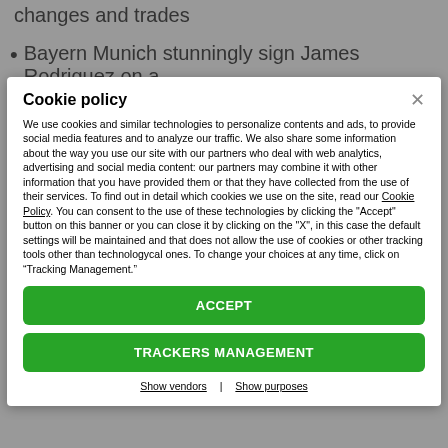changes and trades
Bayern Munich stunningly sign James Rodriguez on a
Cookie policy
We use cookies and similar technologies to personalize contents and ads, to provide social media features and to analyze our traffic. We also share some information about the way you use our site with our partners who deal with web analytics, advertising and social media content: our partners may combine it with other information that you have provided them or that they have collected from the use of their services. To find out in detail which cookies we use on the site, read our Cookie Policy. You can consent to the use of these technologies by clicking the "Accept" button on this banner or you can close it by clicking on the "X", in this case the default settings will be maintained and that does not allow the use of cookies or other tracking tools other than technologycal ones. To change your choices at any time, click on “Tracking Management.”
ACCEPT
TRACKERS MANAGEMENT
Show vendors | Show purposes